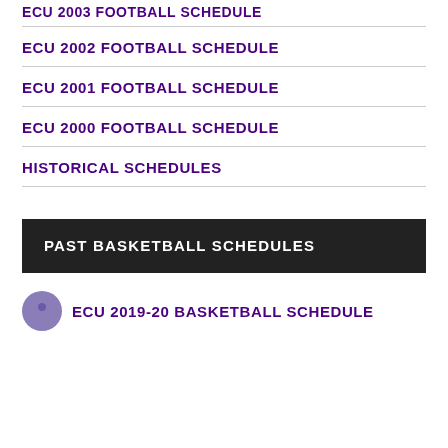ECU 2002 FOOTBALL SCHEDULE
ECU 2001 FOOTBALL SCHEDULE
ECU 2000 FOOTBALL SCHEDULE
HISTORICAL SCHEDULES
PAST BASKETBALL SCHEDULES
ECU 2019-20 BASKETBALL SCHEDULE